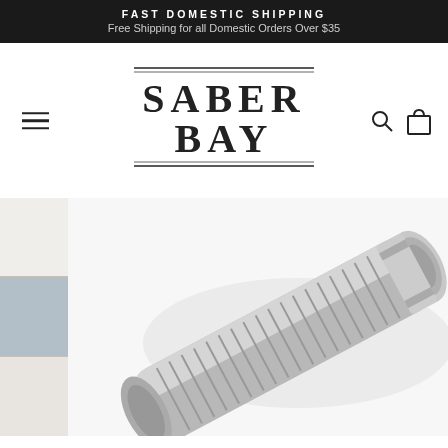FAST DOMESTIC SHIPPING
Free Shipping for all Domestic Orders Over $35
[Figure (logo): Saber Bay logo in Art Deco style with horizontal rules above and below]
[Figure (photo): Close-up product photo of a cylindrical metallic lightsaber hilt with ridged grip texture, shown at an angle against a white background. On the left edge are two smaller thumbnail images.]